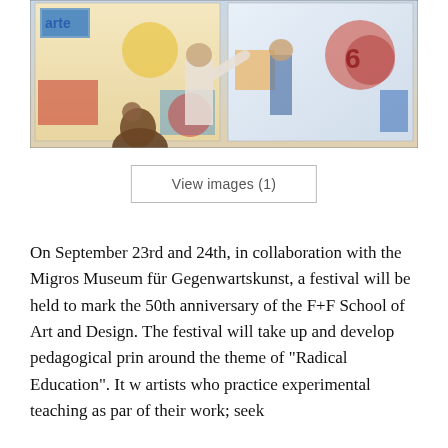[Figure (photo): Photo of people, possibly students and a teacher, working on or viewing colorful artwork/posters on a wall. Art school scene.]
View images (1)
On September 23rd and 24th, in collaboration with the Migros Museum für Gegenwartskunst, a festival will be held to mark the 50th anniversary of the F+F School of Art and Design. The festival will take up and develop pedagogical principles around the theme of "Radical Education". It will feature artists who practice experimental teaching as part of their work; seek